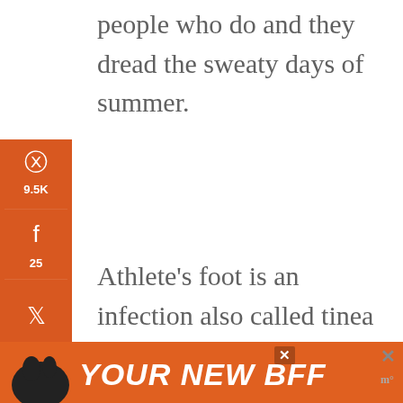people who do and they dread the sweaty days of summer.
Athlete's foot is an infection also called tinea pedis, caused when various types of fungus invade the skin. It usually occurs between the toes but can also occur on the bottom and sides of the feet and is highly contagious. It can
[Figure (screenshot): Orange social sharing sidebar with Pinterest (9.5K), Facebook (25), Twitter, Yahoo, Email, and Print icons]
[Figure (screenshot): Share floating action button (circular white button with share icon)]
[Figure (screenshot): Bottom advertisement banner: orange background with dog image and text 'YOUR NEW BFF', with a close button X, and additional X icon on the right side]